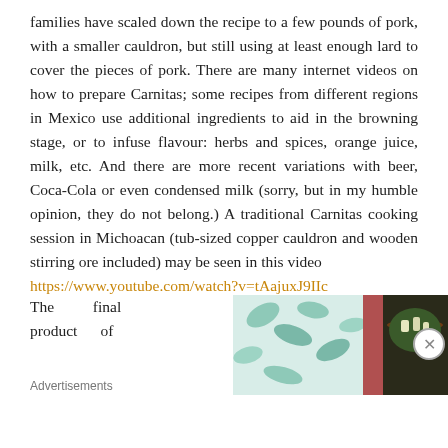families have scaled down the recipe to a few pounds of pork, with a smaller cauldron, but still using at least enough lard to cover the pieces of pork. There are many internet videos on how to prepare Carnitas; some recipes from different regions in Mexico use additional ingredients to aid in the browning stage, or to infuse flavour: herbs and spices, orange juice, milk, etc. And there are more recent variations with beer, Coca-Cola or even condensed milk (sorry, but in my humble opinion, they do not belong.) A traditional Carnitas cooking session in Michoacan (tub-sized copper cauldron and wooden stirring ore included) may be seen in this video https://www.youtube.com/watch?v=tAajuxJ9IIc
The final product of
[Figure (photo): A partial image showing a floral fabric and a bowl of food, partially obscured by an advertisement overlay]
Advertisements